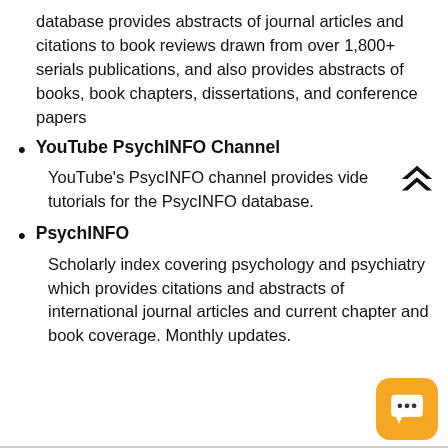database provides abstracts of journal articles and citations to book reviews drawn from over 1,800+ serials publications, and also provides abstracts of books, book chapters, dissertations, and conference papers
YouTube PsychINFO Channel — YouTube's PsycINFO channel provides video tutorials for the PsycINFO database.
PsychINFO — Scholarly index covering psychology and psychiatry which provides citations and abstracts of international journal articles and current chapter and book coverage. Monthly updates.